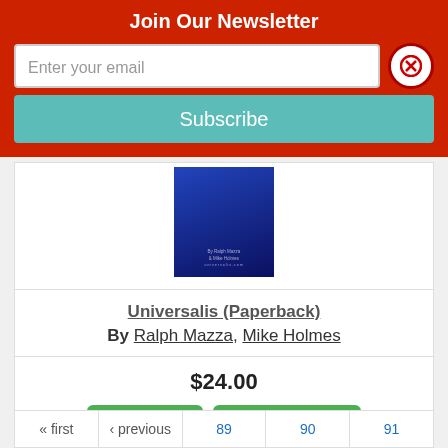Join Our Newsletter
Enter your email
Subscribe
[Figure (screenshot): Book cover image with dark blue background and small white text showing author names Ralph Mazza and Mike Holmes]
Universalis (Paperback)
By Ralph Mazza, Mike Holmes
$24.00
Add to Cart
Add to Wish List
Not on our shelves now. Usually ships in 4-7
« first   ‹ previous   89   90   91